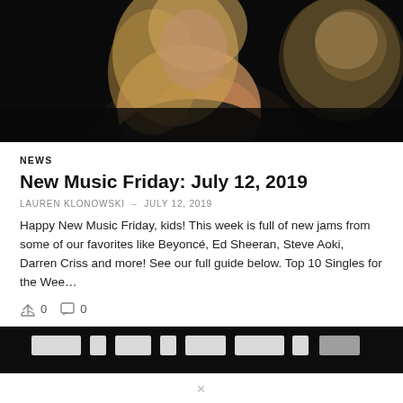[Figure (photo): Dark studio photo showing a blonde woman with bare shoulder in a black off-shoulder top, with a lion visible on the right side in the background, against a very dark background.]
NEWS
New Music Friday: July 12, 2019
LAUREN KLONOWSKI – JULY 12, 2019
Happy New Music Friday, kids! This week is full of new jams from some of our favorites like Beyoncé, Ed Sheeran, Steve Aoki, Darren Criss and more! See our full guide below. Top 10 Singles for the Wee…
0   0
[Figure (photo): Partial view of a second article image, mostly black and white text/graphic, cropped at the bottom of the page.]